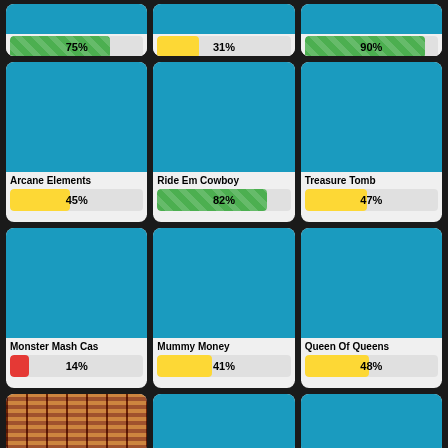[Figure (infographic): Grid of game/slot cards each with a teal image placeholder, title, and percentage bar. Row 1 (partial top): 75% green bar, 31% yellow bar, 90% green bar. Row 2: Arcane Elements 45% yellow, Ride Em Cowboy 82% green, Treasure Tomb 47% yellow. Row 3: Monster Mash Cas 14% red, Mummy Money 41% yellow, Queen Of Queens 48% yellow. Row 4 (partial bottom): slot/wood image, teal card, teal card.]